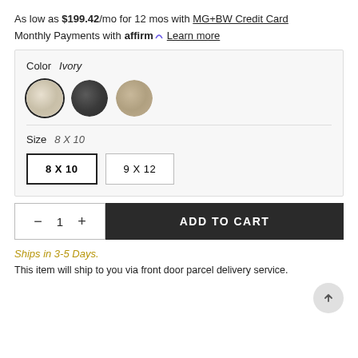As low as $199.42/mo for 12 mos with MG+BW Credit Card
Monthly Payments with affirm. Learn more
Color  Ivory
[Figure (illustration): Three circular color swatches: Ivory (selected, with black ring), Charcoal, and Tan/Natural]
Size  8 X 10
8 X 10 (selected)  9 X 12
— 1 +  ADD TO CART
Ships in 3-5 Days.
This item will ship to you via front door parcel delivery service.